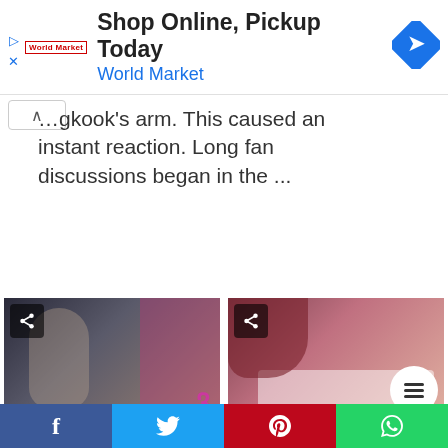[Figure (other): Advertisement banner for World Market: 'Shop Online, Pickup Today' with World Market logo and navigation icon]
…gkook's arm. This caused an instant reaction. Long fan discussions began in the ...
[Figure (photo): Thumbnail photo of Angelina Jolie showing tattoos on her back, with share button overlay]
Angelina Jolie
[Figure (photo): Thumbnail photo of Rihanna with purple lipstick, with share button and menu button overlay]
21 Rihanna tattoos:
[Figure (other): Social media share bar with Facebook, Twitter, Pinterest, and WhatsApp buttons]